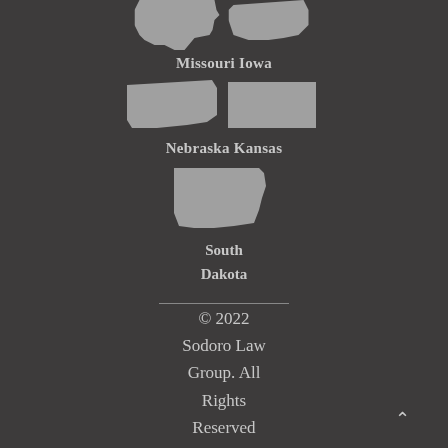[Figure (map): State map silhouettes of Missouri and Iowa side by side]
Missouri Iowa
[Figure (map): State map silhouettes of Nebraska and Kansas side by side]
Nebraska Kansas
[Figure (map): State map silhouette of South Dakota]
South Dakota
© 2022 Sodoro Law Group. All Rights Reserved